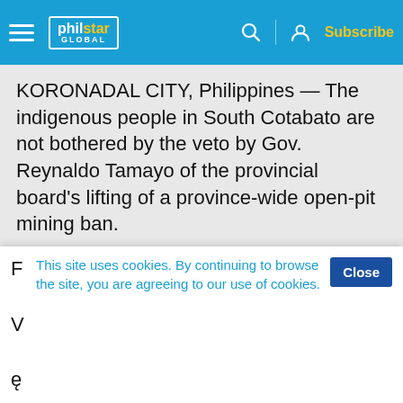philstar GLOBAL — Subscribe
KORONADAL CITY, Philippines — The indigenous people in South Cotabato are not bothered by the veto by Gov. Reynaldo Tamayo of the provincial board's lifting of a province-wide open-pit mining ban.
Tamayo on June 3 vetoed the measure, but emphasized clearly that any such local ban cannot stop large-scale mining operations in South Cotabato with permits from the national government.
This site uses cookies. By continuing to browse the site, you are agreeing to our use of cookies.